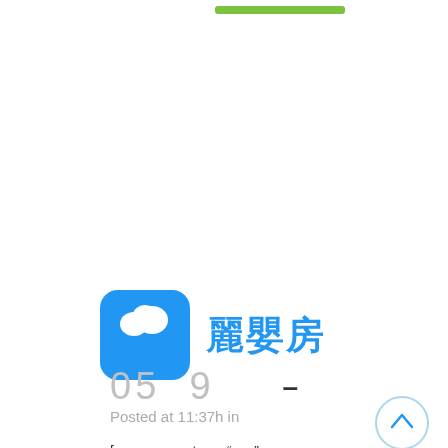[Figure (other): Green button/bar at top of page, partially cropped]
[Figure (logo): Les Enphants logo (blue rounded square with elephant icon) next to Chinese text 麗嬰房 in blue]
05 9 -
Posted at 11:37h in
[vc_row row_type="row" use_row_as_full_screen_section="no" type="full_width" angled_section="no" text_align="left" background_image_as_pattern="without_pattern"